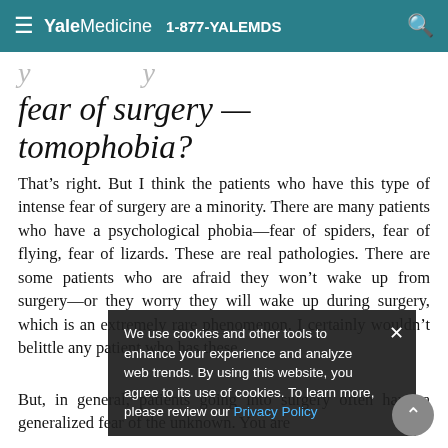Yale Medicine 1-877-YALEMDS
fear of surgery — tomophobia?
That's right. But I think the patients who have this type of intense fear of surgery are a minority. There are many patients who have a psychological phobia—fear of spiders, fear of flying, fear of lizards. These are real pathologies. There are some patients who are afraid they won't wake up from surgery—or they worry they will wake up during surgery, which is an extremely rare phenomenon. I certainly wouldn't belittle any patient who has these
But, in general, patients going into surgery often have a generalized fear of the unknown. You are
We use cookies and other tools to enhance your experience and analyze web trends. By using this website, you agree to its use of cookies. To learn more, please review our Privacy Policy